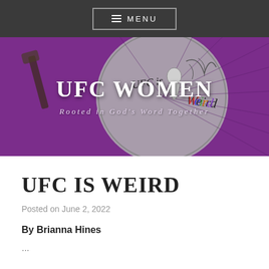≡ MENU
[Figure (illustration): UFC Women blog hero banner with purple background, decorative circular illustration of a woman figure with text 'UFC is Weird', overlaid with white serif text 'UFC WOMEN' and subtitle 'Rooted in God's Word Together']
UFC IS WEIRD
Posted on June 2, 2022
By Brianna Hines